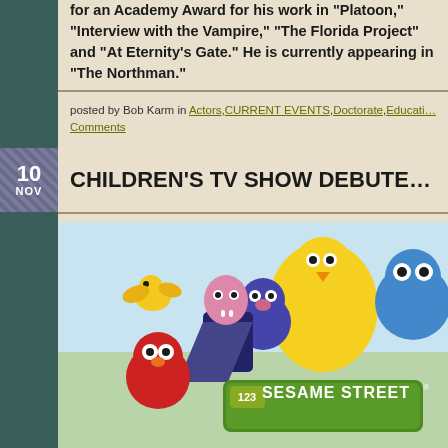for an Academy Award for his work in "Platoon," "Interview with the Vampire," "The Florida Project" and "At Eternity's Gate." He is currently appearing in "The Northman."
posted by Bob Karm in Actors, CURRENT EVENTS, Doctorate, Education, Comments
CHILDREN'S TV SHOW DEBUTE...
[Figure (photo): Sesame Street characters including Big Bird, Cookie Monster, Grover, The Count, Elmo, and other Muppets gathered together with a Sesame Street sign showing '123 SESAME STREET']